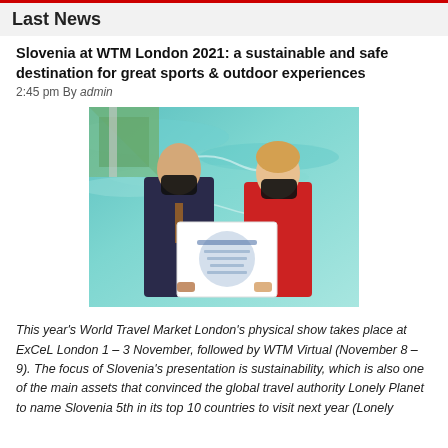Last News
Slovenia at WTM London 2021: a sustainable and safe destination for great sports & outdoor experiences
2:45 pm By admin
[Figure (photo): Two people wearing black masks holding a white presentation board with Slovenia branding, standing in front of a scenic turquoise water background.]
This year's World Travel Market London's physical show takes place at ExCeL London 1 – 3 November, followed by WTM Virtual (November 8 – 9). The focus of Slovenia's presentation is sustainability, which is also one of the main assets that convinced the global travel authority Lonely Planet to name Slovenia 5th in its top 10 countries to visit next year (Lonely